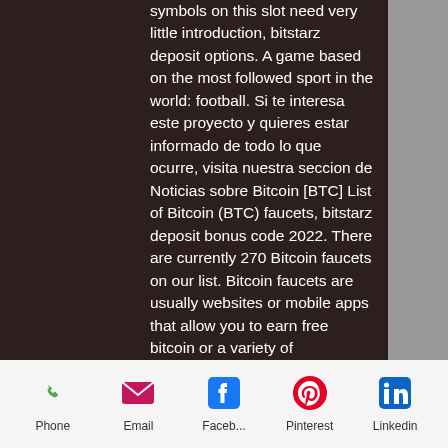symbols on this slot need very little introduction, bitstarz deposit options. A game based on the most followed sport in the world: football. Si te interesa este proyecto y quieres estar informado de todo lo que ocurre, visita nuestra seccion de Noticias sobre Bitcoin [BTC] List of Bitcoin (BTC) faucets, bitstarz deposit bonus code 2022. There are currently 270 Bitcoin faucets on our list. Bitcoin faucets are usually websites or mobile apps that allow you to earn free bitcoin or a variety of cryptocurrency in exchange for doing simple tasks. These tasks include solving the captcha, playing games, viewing the advertisement, completing a survey, installing an app, and so on, bitstarz deposit bonus code 2022.
Bitstarz careers, bitstarz
[Figure (infographic): Mobile app footer navigation bar with Phone, Email, Facebook, Pinterest, and LinkedIn icons]